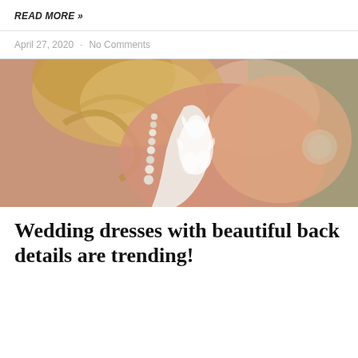READ MORE »
April 27, 2020  ·  No Comments
[Figure (photo): Close-up photo of a bride from behind, showing the back of a white lace wedding dress with floral lace detail on the back. The bride has blonde wavy hair and is wearing a long pearl/crystal drop earring. The background is blurred with warm and green tones.]
Wedding dresses with beautiful back details are trending!